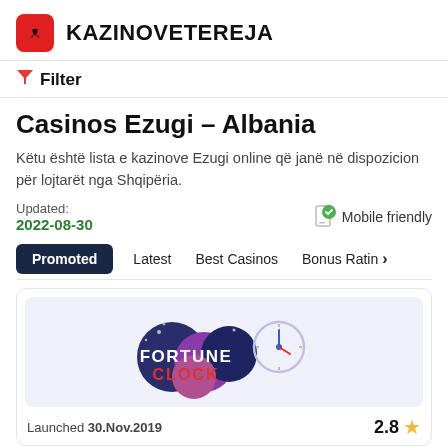KAZINOVETEREJA
Filter
Casinos Ezugi - Albania
Këtu është lista e kazinove Ezugi online që janë në dispozicion për lojtarët nga Shqipëria.
Updated: 2022-08-30   Mobile friendly
Promoted
Latest
Best Casinos
Bonus Rating >
[Figure (logo): Fortune Clock casino logo with colorful spheres and clock design]
Launched 30.Nov.2019   2.8 ★